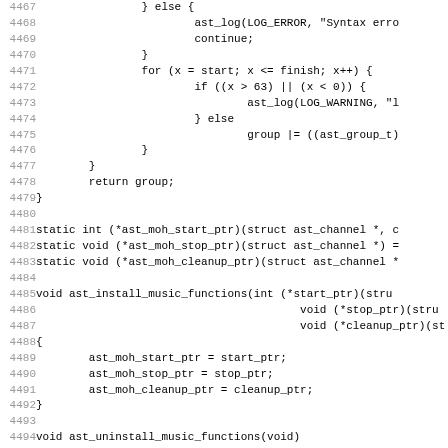[Figure (other): Source code listing in C, lines 4467-4499, showing AST music on hold functions including group parsing loop, ast_install_music_functions, and ast_uninstall_music_functions.]